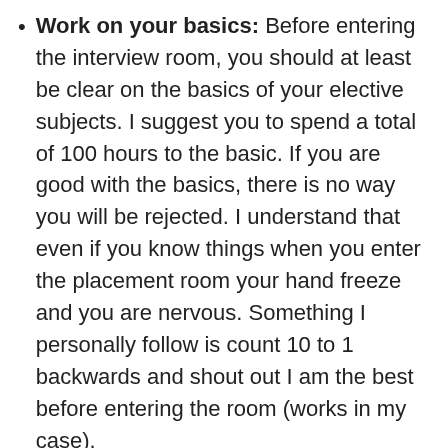Work on your basics: Before entering the interview room, you should at least be clear on the basics of your elective subjects. I suggest you to spend a total of 100 hours to the basic. If you are good with the basics, there is no way you will be rejected. I understand that even if you know things when you enter the placement room your hand freeze and you are nervous. Something I personally follow is count 10 to 1 backwards and shout out I am the best before entering the room (works in my case).
Also, my personal experience says that don't beat around the bush. Make your answers are crisp. Answer to the question asked, do not tell stories. Rehearse the interviews in front of a